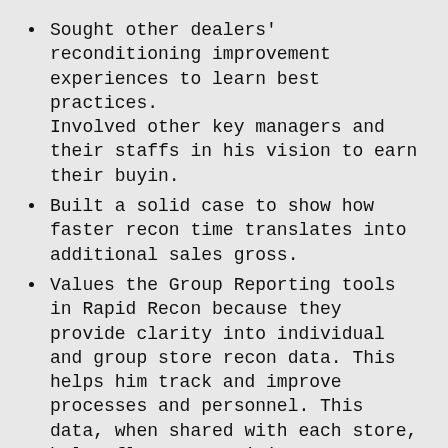Sought other dealers' reconditioning improvement experiences to learn best practices. Involved other key managers and their staffs in his vision to earn their buyin.
Built a solid case to show how faster recon time translates into additional sales gross.
Values the Group Reporting tools in Rapid Recon because they provide clarity into individual and group store recon data. This helps him track and improve processes and personnel. This data, when shared with each store, helps flame competition among them.
Continuously looks for opportunities to improve, the most robust evidence the Group's commitment to centralized